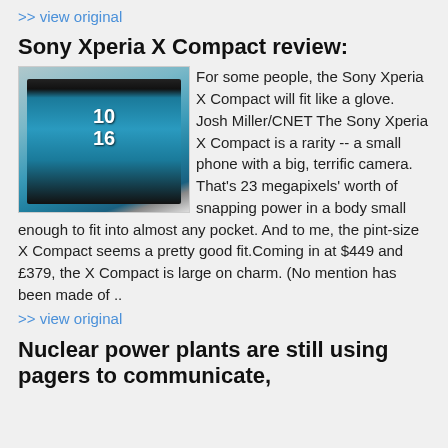>> view original
Sony Xperia X Compact review:
[Figure (photo): Photo of Sony Xperia X Compact smartphone showing the screen with time 10:16 displayed]
For some people, the Sony Xperia X Compact will fit like a glove. Josh Miller/CNET The Sony Xperia X Compact is a rarity -- a small phone with a big, terrific camera. That's 23 megapixels' worth of snapping power in a body small enough to fit into almost any pocket. And to me, the pint-size X Compact seems a pretty good fit.Coming in at $449 and £379, the X Compact is large on charm. (No mention has been made of ..
>> view original
Nuclear power plants are still using pagers to communicate,